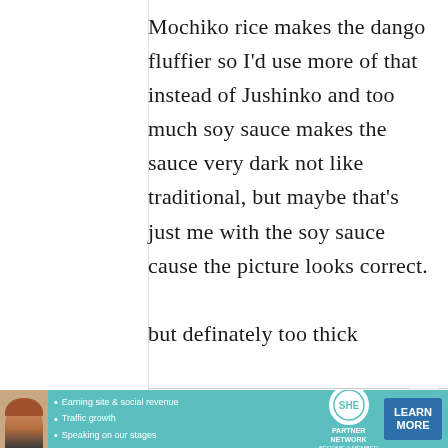Mochiko rice makes the dango fluffier so I'd use more of that instead of Jushinko and too much soy sauce makes the sauce very dark not like traditional, but maybe that's just me with the soy sauce cause the picture looks correct. but definately too thick
[Figure (infographic): Advertisement banner for SHE Partner Network with teal background, photo of woman, bullet points about earning site & social revenue, traffic growth, speaking on our stages, SHE logo, and LEARN MORE button]